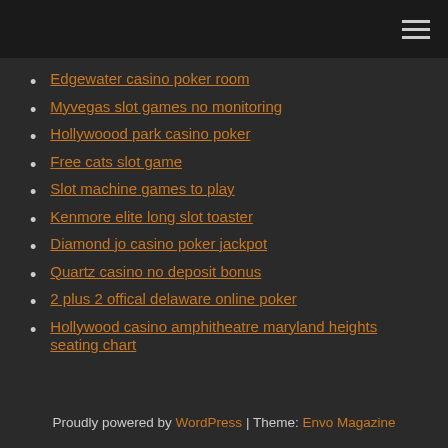[hamburger menu icon]
Edgewater casino poker room
Myvegas slot games no monitoring
Hollywoood park casino poker
Free cats slot game
Slot machine games to play
Kenmore elite long slot toaster
Diamond jo casino poker jackpot
Quartz casino no deposit bonus
2 plus 2 offical delaware online poker
Hollywood casino amphitheatre maryland heights seating chart
Proudly powered by WordPress | Theme: Envo Magazine